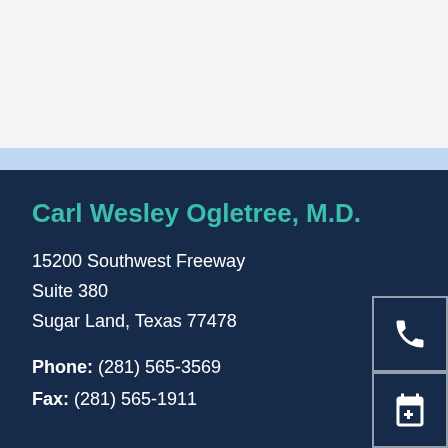Carl Wesley Ogletree, M.D.
15200 Southwest Freeway
Suite 380
Sugar Land, Texas 77478
Phone: (281) 565-3569
Fax: (281) 565-1911